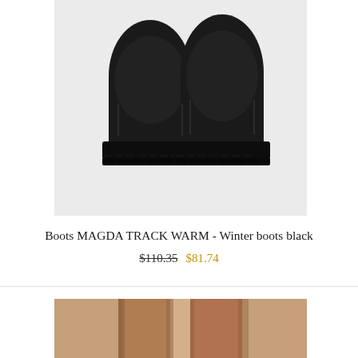[Figure (photo): A pair of black winter boots (MAGDA TRACK WARM) photographed on a light gray background, shown as a pair from above at a slight angle, featuring chunky black soles and slip-on design.]
Boots MAGDA TRACK WARM - Winter boots black
$110.35  $81.74
[Figure (photo): Partial view of a person's legs wearing what appears to be hosiery or tights, shown from thigh to knee area, with warm brown skin tones visible.]